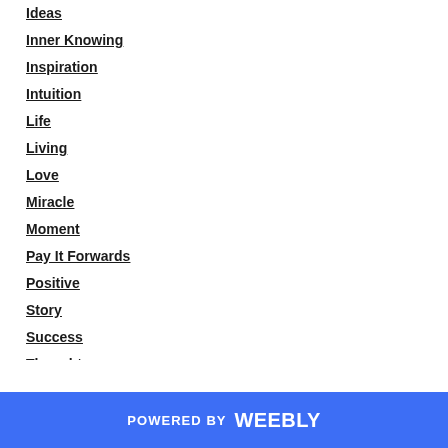Ideas
Inner Knowing
Inspiration
Intuition
Life
Living
Love
Miracle
Moment
Pay It Forwards
Positive
Story
Success
Thoughts
Women
Workshop
POWERED BY weebly